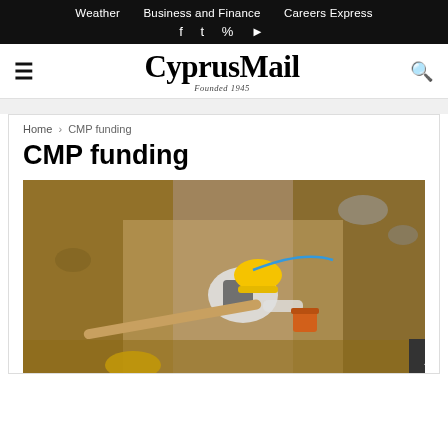Weather  Business and Finance  Careers Express
CyprusMail — Founded 1945
Home › CMP funding
CMP funding
[Figure (photo): A worker wearing a yellow hard hat and white shirt crouched down excavating in a dirt pit, with earthen walls and archaeological dig site visible around them, orange bucket and wooden stick visible in foreground.]